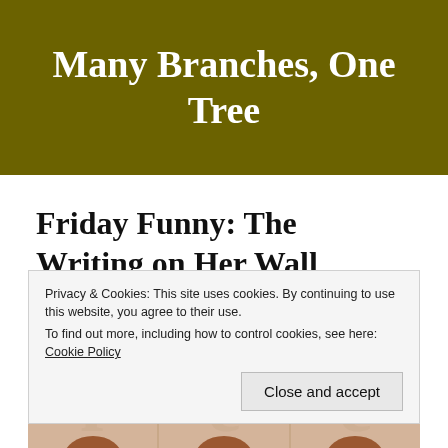Many Branches, One Tree
Friday Funny: The Writing on Her Wall
Privacy & Cookies: This site uses cookies. By continuing to use this website, you agree to their use. To find out more, including how to control cookies, see here: Cookie Policy
[Figure (photo): Three cropped portrait photos of people arranged side by side, partially visible at the bottom of the page, with large faded letter shapes overlaid]
Close and accept